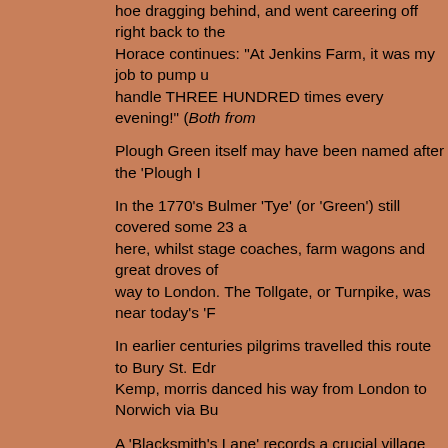hoe dragging behind, and went careering off right back to the Horace continues: "At Jenkins Farm, it was my job to pump u handle THREE HUNDRED times every evening!" (Both from
Plough Green itself may have been named after the 'Plough I
In the 1770's Bulmer 'Tye' (or 'Green') still covered some 23 a here, whilst stage coaches, farm wagons and great droves of way to London. The Tollgate, or Turnpike, was near today's 'F
In earlier centuries pilgrims travelled this route to Bury St. Edr Kemp, morris danced his way from London to Norwich via Bu
A 'Blacksmith's Lane' records a crucial village industry - "whe horses" whilst the lines of young trees in fields beside the pat production of fruit stock from the parish's soil.
As mentioned before: turn left at Jenkins Farm onto metalled follow lane beside the school, after 50 yards turn right onto a
FINAL STOP: VILLAGE HALL
Walkers of the 'shorter route' will have passed Cutters Field. Legend has it that in one disastrous harvest the sheaves were
The lane opposite the Village Hall leads down to Sudbury.